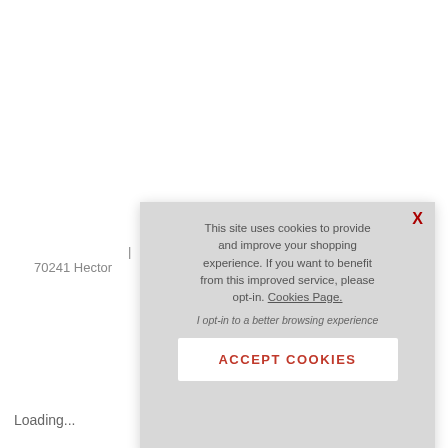| 70241 Hector
Loading...
[Figure (screenshot): Cookie consent modal dialog with gray background. Contains message about site using cookies to improve shopping experience, a link to Cookies Page, an opt-in text link, and an ACCEPT COOKIES button. An X close button is in the top right corner.]